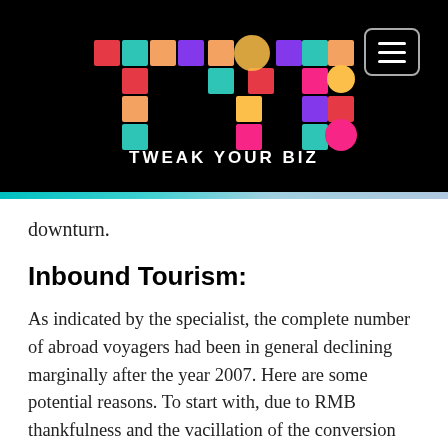TWEAK YOUR BIZ
downturn.
Inbound Tourism:
As indicated by the specialist, the complete number of abroad voyagers had been in general declining marginally after the year 2007. Here are some potential reasons. To start with, due to RMB thankfulness and the vacillation of the conversion scale, the expense for movement to China goes up, and numerous potential guests are in this manner going to different goals. Second, the financial retreat in European and American nations leads individuals to spend less cash on voyaging while European and American visitors are likewise more averse to